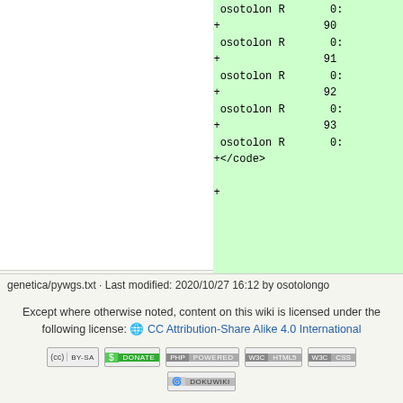[Figure (screenshot): Code diff view with green highlighted lines showing added code. Lines include 'osotolon R 0:', '+  90', 'osotolon R 0:', '+  91', 'osotolon R 0:', '+  92', 'osotolon R 0:', '+  93', 'osotolon R 0:', '+</code>', '+' entries on green background.]
genetica/pywgs.txt · Last modified: 2020/10/27 16:12 by osotolongo
Except where otherwise noted, content on this wiki is licensed under the following license: 🌐 CC Attribution-Share Alike 4.0 International
[Figure (other): Row of badge images: CC BY-SA, Donate, PHP Powered, WSC HTML5, WSC CSS, DokuWiki]